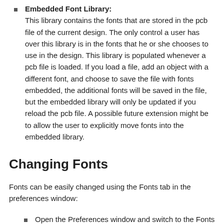Embedded Font Library: This library contains the fonts that are stored in the pcb file of the current design. The only control a user has over this library is in the fonts that he or she chooses to use in the design. This library is populated whenever a pcb file is loaded. If you load a file, add an object with a different font, and choose to save the file with fonts embedded, the additional fonts will be saved in the file, but the embedded library will only be updated if you reload the pcb file. A possible future extension might be to allow the user to explicitly move fonts into the embedded library.
Changing Fonts
Fonts can be easily changed using the Fonts tab in the preferences window:
Open the Preferences window and switch to the Fonts tab.